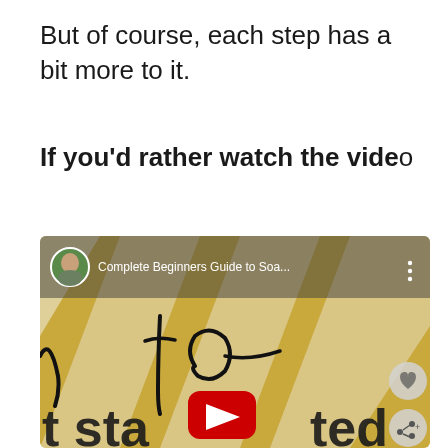But of course, each step has a bit more to it.
If you’d rather watch the video
[Figure (screenshot): YouTube video thumbnail screenshot showing 'Complete Beginners Guide to Soa...' with channel avatar, handwritten 'to' text overlay, yellow soap bars background, YouTube play button, and the text 'tstarted' at the bottom.]